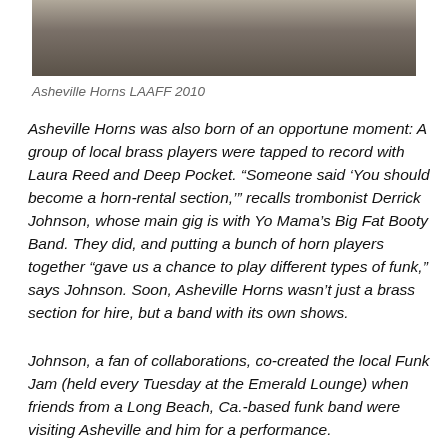[Figure (photo): Group of people at an outdoor event, Asheville Horns LAAFF 2010]
Asheville Horns LAAFF 2010
Asheville Horns was also born of an opportune moment: A group of local brass players were tapped to record with Laura Reed and Deep Pocket. “Someone said ‘You should become a horn-rental section,’” recalls trombonist Derrick Johnson, whose main gig is with Yo Mama’s Big Fat Booty Band. They did, and putting a bunch of horn players together “gave us a chance to play different types of funk,” says Johnson. Soon, Asheville Horns wasn’t just a brass section for hire, but a band with its own shows.
Johnson, a fan of collaborations, co-created the local Funk Jam (held every Tuesday at the Emerald Lounge) when friends from a Long Beach, Ca.-based funk band were visiting Asheville and him for a performance.